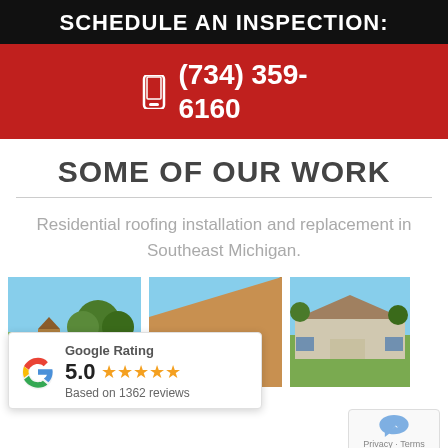SCHEDULE AN INSPECTION:
(734) 359-6160
SOME OF OUR WORK
Residential roofing installation and replacement in Southeast Michigan.
[Figure (photo): Three photos of residential roofing projects in Southeast Michigan]
Google Rating 5.0 Based on 1362 reviews